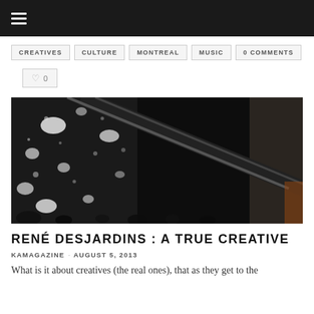≡ (menu icon)
CREATIVES
CULTURE
MONTREAL
MUSIC
0 COMMENTS
♡ 0
[Figure (photo): Close-up photograph of an ornate black laser-cut metal panel with floral/organic patterns, showing a staircase railing in the background]
RENÉ DESJARDINS : A TRUE CREATIVE
KAMAGAZINE · AUGUST 5, 2013
What is it about creatives (the real ones), that as they get to the